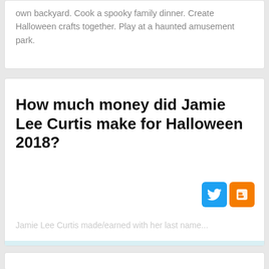own backyard. Cook a spooky family dinner. Create Halloween crafts together. Play at a haunted amusement park.
How much money did Jamie Lee Curtis make for Halloween 2018?
[Figure (logo): Twitter and Blogger social share icons]
Jamie Lee Curtis made/earned with her last name...
This website uses cookies to ensure you get the best experience on our website. Learn more
Got it!